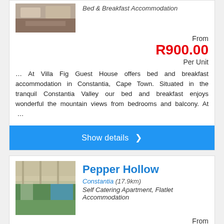[Figure (photo): Thumbnail photo of accommodation room/interior (partially visible at top)]
Bed & Breakfast Accommodation
From
R900.00
Per Unit
… At Villa Fig Guest House offers bed and breakfast accommodation in Constantia, Cape Town. Situated in the tranquil Constantia Valley our bed and breakfast enjoys wonderful the mountain views from bedrooms and balcony. At …
Show details ❯
[Figure (photo): Photo of Pepper Hollow property showing covered patio/veranda with pool and garden]
Pepper Hollow
Constantia (17.9km)
Self Catering Apartment, Flatlet Accommodation
From
R1000.00
Per Person
… Pepper Hollow offers self catering apartment accommodation in Constantia, Cape Town. The accommodation consists of one self-catering cottage with 2 bedrooms. The cottage has one open-plan kitchen and &